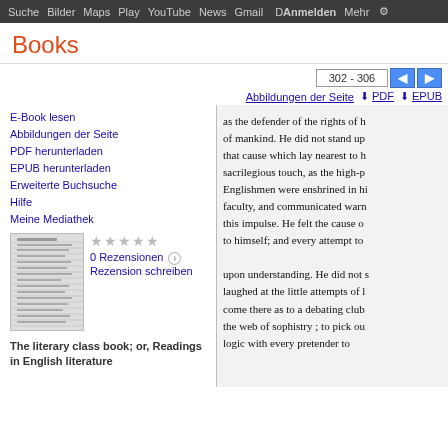Suche  Bilder  Maps  Play  YouTube  News  Gmail  D  Anmelden  Mehr  ⚙
Books
302 - 306
Abbildungen der Seite  ⬇ PDF  ⬇ EPUB
E-Book lesen
Abbildungen der Seite
PDF herunterladen
EPUB herunterladen
Erweiterte Buchsuche
Hilfe
Meine Mediathek
0 Rezensionen
Rezension schreiben
The literary class book; or, Readings in English literature
as the defender of the rights of h… of mankind. He did not stand up … that cause which lay nearest to h… sacrilegious touch, as the high-p… Englishmen were enshrined in hi… faculty, and communicated warn… this impulse. He felt the cause o… to himself; and every attempt to … upon understanding. He did not s… laughed at the little attempts of l… come there as to a debating club… the web of sophistry ; to pick ou… logic with every pretender to…